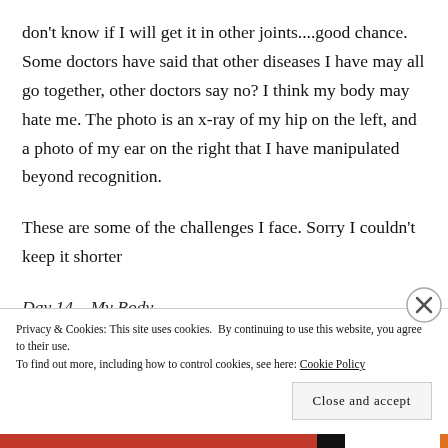don't know if I will get it in other joints....good chance. Some doctors have said that other diseases I have may all go together, other doctors say no? I think my body may hate me. The photo is an x-ray of my hip on the left, and a photo of my ear on the right that I have manipulated beyond recognition.
These are some of the challenges I face. Sorry I couldn't keep it shorter
Day 14 – My Body
Privacy & Cookies: This site uses cookies. By continuing to use this website, you agree to their use.
To find out more, including how to control cookies, see here: Cookie Policy